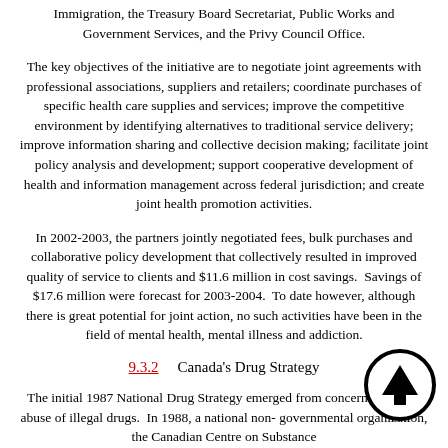Immigration, the Treasury Board Secretariat, Public Works and Government Services, and the Privy Council Office.
The key objectives of the initiative are to negotiate joint agreements with professional associations, suppliers and retailers; coordinate purchases of specific health care supplies and services; improve the competitive environment by identifying alternatives to traditional service delivery; improve information sharing and collective decision making; facilitate joint policy analysis and development; support cooperative development of health and information management across federal jurisdiction; and create joint health promotion activities.
In 2002-2003, the partners jointly negotiated fees, bulk purchases and collaborative policy development that collectively resulted in improved quality of service to clients and $11.6 million in cost savings.  Savings of $17.6 million were forecast for 2003-2004.  To date however, although there is great potential for joint action, no such activities have been in the field of mental health, mental illness and addiction.
9.3.2    Canada's Drug Strategy
The initial 1987 National Drug Strategy emerged from concern about the abuse of illegal drugs.  In 1988, a national non-governmental organization, the Canadian Centre on Substance